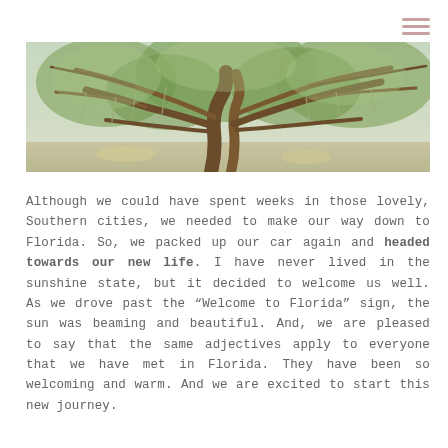[Figure (photo): Wide panoramic photograph of a large Southern live oak tree with sprawling branches draped in Spanish moss, taken in a park-like setting with soft green foliage and dappled light.]
Although we could have spent weeks in those lovely, Southern cities, we needed to make our way down to Florida. So, we packed up our car again and headed towards our new life. I have never lived in the sunshine state, but it decided to welcome us well. As we drove past the “Welcome to Florida” sign, the sun was beaming and beautiful. And, we are pleased to say that the same adjectives apply to everyone that we have met in Florida. They have been so welcoming and warm. And we are excited to start this new journey.